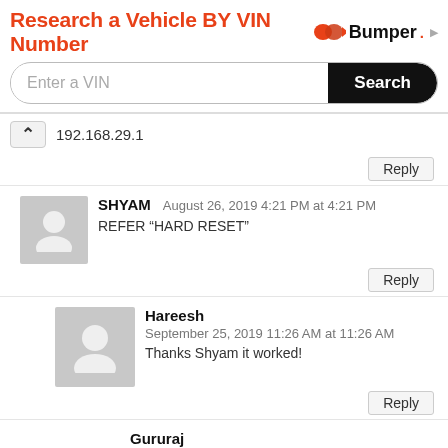[Figure (screenshot): Advertisement banner: 'Research a Vehicle BY VIN Number' with Bumper logo and VIN search bar with Search button]
192.168.29.1
Reply
SHYAM   August 26, 2019 4:21 PM at 4:21 PM
REFER "HARD RESET"
Reply
Hareesh   September 25, 2019 11:26 AM at 11:26 AM
Thanks Shyam it worked!
Reply
Gururaj   September 24, 2020 3:01 PM at 3:01 PM
How to do hard rest in fiber modem